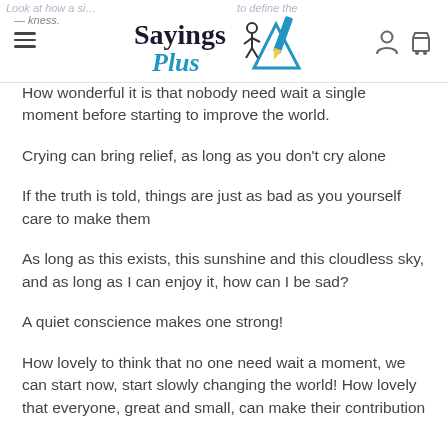Sayings Plus
How wonderful it is that nobody need wait a single moment before starting to improve the world.
Crying can bring relief, as long as you don’t cry alone
If the truth is told, things are just as bad as you yourself care to make them
As long as this exists, this sunshine and this cloudless sky, and as long as I can enjoy it, how can I be sad?
A quiet conscience makes one strong!
How lovely to think that no one need wait a moment, we can start now, start slowly changing the world! How lovely that everyone, great and small, can make their contribution